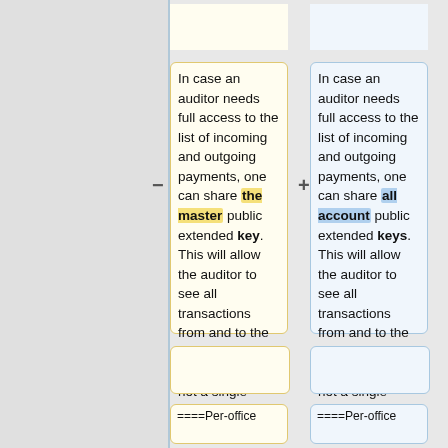In case an auditor needs full access to the list of incoming and outgoing payments, one can share the master public extended key. This will allow the auditor to see all transactions from and to the wallet, in all accounts, but not a single secret key.
In case an auditor needs full access to the list of incoming and outgoing payments, one can share all account public extended keys. This will allow the auditor to see all transactions from and to the wallet, in all accounts, but not a single secret key.
====Per-office
====Per-office